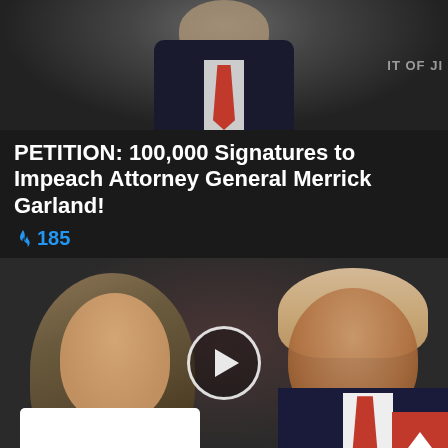[Figure (photo): Cropped photo of a person in dark suit with red tie at a podium, partial view of face/chin, text in background partially visible reading 'OF J']
PETITION: 100,000 Signatures to Impeach Attorney General Merrick Garland!
🔥 185
[Figure (photo): Video thumbnail showing two people — a woman with long highlighted brown hair in white outfit on the left and an older man with blonde hair in dark suit and red tie on the right — with a circular play button overlay in the center. A red scroll-to-top button appears in bottom right corner.]
Trump Wants This Video Shared A Million Times — Watch Now Before It's Banned!
🔥 43,530